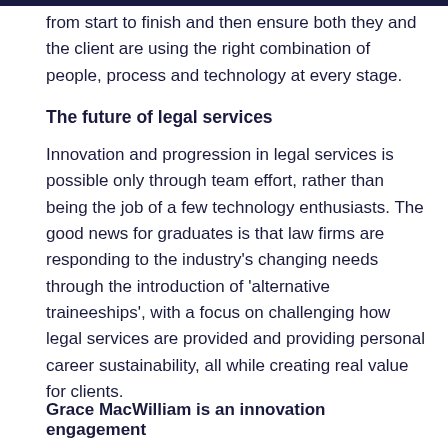from start to finish and then ensure both they and the client are using the right combination of people, process and technology at every stage.
The future of legal services
Innovation and progression in legal services is possible only through team effort, rather than being the job of a few technology enthusiasts. The good news for graduates is that law firms are responding to the industry's changing needs through the introduction of 'alternative traineeships', with a focus on challenging how legal services are provided and providing personal career sustainability, all while creating real value for clients.
Grace MacWilliam is an innovation engagement